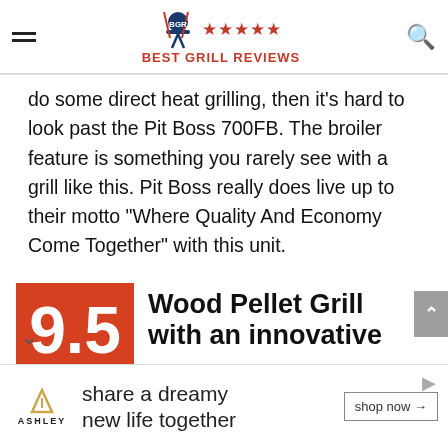Best Grill Reviews
do some direct heat grilling, then it’s hard to look past the Pit Boss 700FB. The broiler feature is something you rarely see with a grill like this. Pit Boss really does live up to their motto “Where Quality And Economy Come Together” with this unit.
[Figure (infographic): Score box showing 9.5 total score in red and black, next to product title 'Wood Pellet Grill with an innovative']
[Figure (infographic): Ashley Furniture advertisement: share a dreamy new life together, shop now button]